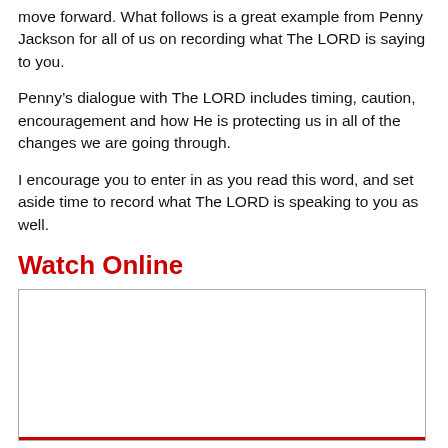move forward. What follows is a great example from Penny Jackson for all of us on recording what The LORD is saying to you.
Penny's dialogue with The LORD includes timing, caution, encouragement and how He is protecting us in all of the changes we are going through.
I encourage you to enter in as you read this word, and set aside time to record what The LORD is speaking to you as well.
Watch Online
[Figure (other): Embedded video player box, white background with border, red bottom bar]